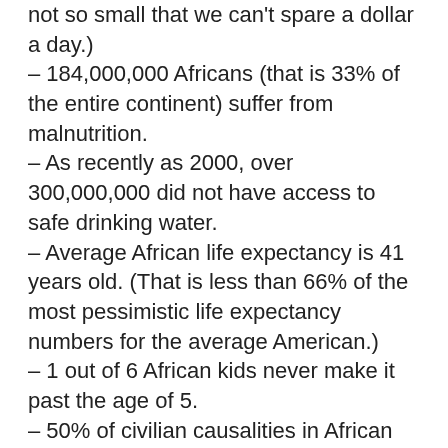not so small that we can't spare a dollar a day.)
– 184,000,000 Africans (that is 33% of the entire continent) suffer from malnutrition.
– As recently as 2000, over 300,000,000 did not have access to safe drinking water.
– Average African life expectancy is 41 years old. (That is less than 66% of the most pessimistic life expectancy numbers for the average American.)
– 1 out of 6 African kids never make it past the age of 5.
– 50% of civilian causalities in African wars (and there are always multiple African wars going on at any given moment) are children under the age of 13.
– Of 1,000 Africans, statistically, only 200 have any electricity at all, only 15 have access to a telephone, and only 7 can use the internet.
– 3,000 children under the age of 5 die from malaria EVERYDAY in Africa, yet there are a million CHILDREN